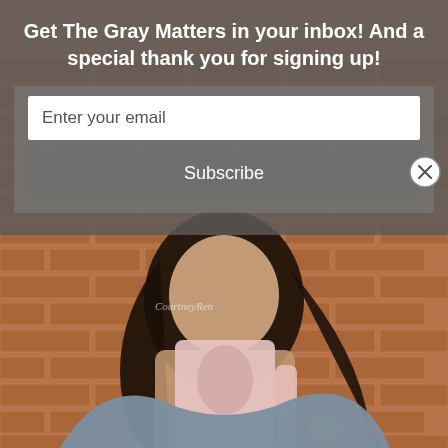[Figure (photo): Woman with dark hair holding a floral mug to her face, wearing a gray t-shirt and gold watch, standing in front of a brick wall. Watermark reads 'CourtneyRen'.]
Get The Gray Matters in your inbox! And a special thank you for signing up!
Enter your email
Subscribe